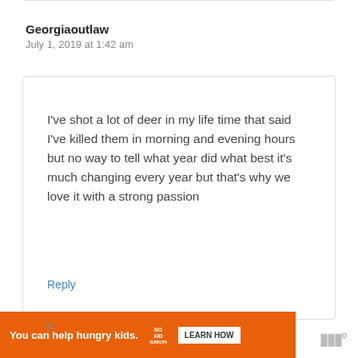Georgiaoutlaw
July 1, 2019 at 1:42 am
I've shot a lot of deer in my life time that said I've killed them in morning and evening hours but no way to tell what year did what best it's much changing every year but that's why we love it with a strong passion
Reply
You can help hungry kids.  NO KID HUNGRY  LEARN HOW